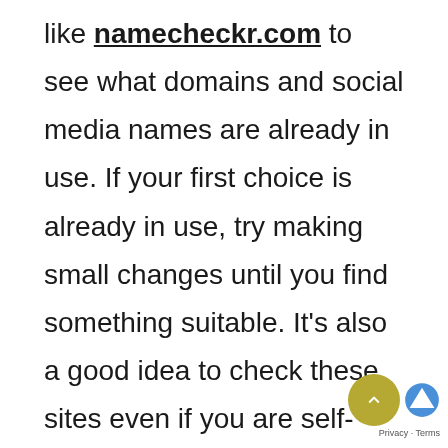like namecheckr.com to see what domains and social media names are already in use. If your first choice is already in use, try making small changes until you find something suitable. It's also a good idea to check these sites even if you are self-naming your site. If there is an underground indie singer with your name, your company's web search results will never make it to the first page of search results.